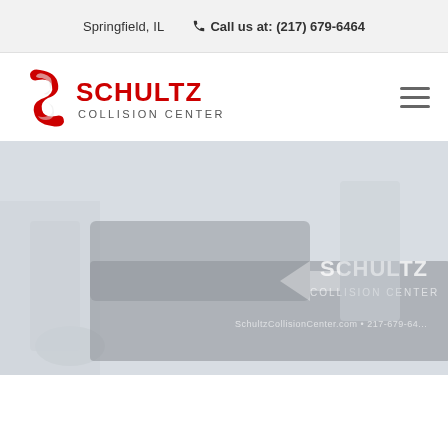Springfield, IL   Call us at: (217) 679-6464
[Figure (logo): Schultz Collision Center logo — red stylized S icon with chrome swash, bold red SCHULTZ text, grey COLLISION CENTER text below]
[Figure (photo): Hero image of Schultz Collision Center — faded/washed out photo of people standing near a vehicle with Schultz Collision Center branding and website URL SchultzCollisionCenter.com • 217-679-64... visible on the vehicle]